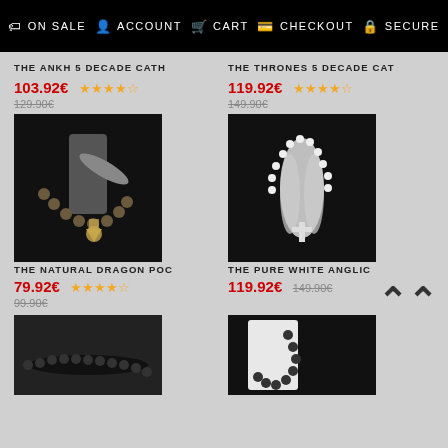On Sale | Account | Cart | Checkout | Secure
THE ANKH 5 DECADE CATH
THE THRONES 5 DECADE CAT
103.92€ ★★★★☆ 129.90€
119.92€ ★★★★☆ 149.90€
[Figure (photo): Dark bracelet/rosary with ornate pendant on a hand display]
[Figure (photo): White pearl rosary beads held in praying hands on dark background]
THE NATURAL DRAGON POC
THE PURE WHITE ANGLIC
79.92€ ★★★★☆ 99.90€
119.92€ 149.90€
[Figure (photo): Black rosary beads on grey background]
[Figure (photo): Dark rosary beads on white display hand]